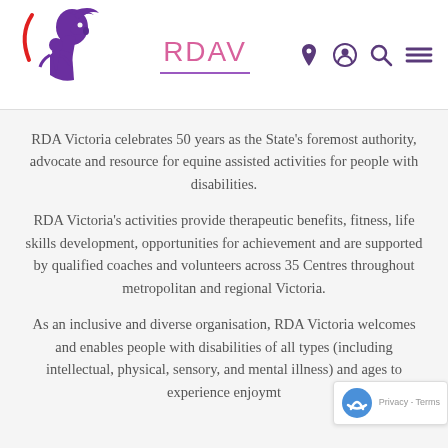[Figure (logo): RDAV logo: purple horse/rider silhouette with red curved accent, purple text]
RDAV
RDA Victoria celebrates 50 years as the State’s foremost authority, advocate and resource for equine assisted activities for people with disabilities.
RDA Victoria’s activities provide therapeutic benefits, fitness, life skills development, opportunities for achievement and are supported by qualified coaches and volunteers across 35 Centres throughout metropolitan and regional Victoria.
As an inclusive and diverse organisation, RDA Victoria welcomes and enables people with disabilities of all types (including intellectual, physical, sensory, and mental illness) and ages to experience enjoyment and social contact and a sense of achievement.